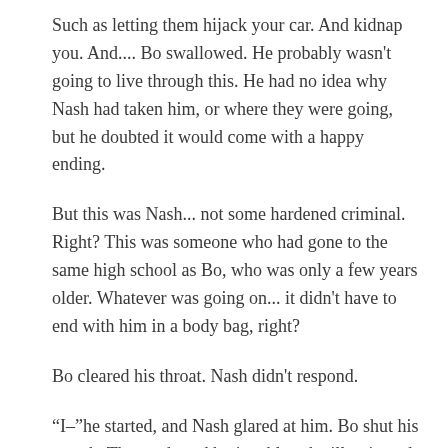Such as letting them hijack your car. And kidnap you. And.... Bo swallowed. He probably wasn't going to live through this. He had no idea why Nash had taken him, or where they were going, but he doubted it would come with a happy ending.
But this was Nash... not some hardened criminal. Right? This was someone who had gone to the same high school as Bo, who was only a few years older. Whatever was going on... it didn't have to end with him in a body bag, right?
Bo cleared his throat. Nash didn't respond.
“I–”he started, and Nash glared at him. Bo shut his mouth. The road sped by in a blur, the illuminated yellow and white lines speeding by in a hypnotizing